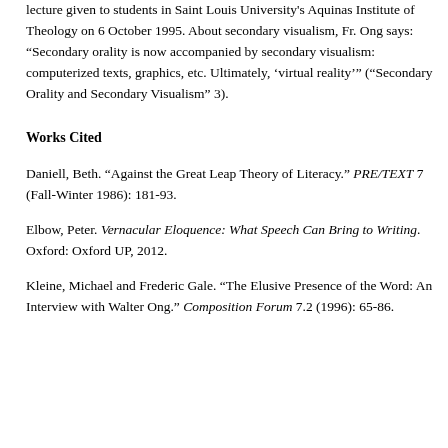lecture given to students in Saint Louis University's Aquinas Institute of Theology on 6 October 1995. About secondary visualism, Fr. Ong says: “Secondary orality is now accompanied by secondary visualism: computerized texts, graphics, etc. Ultimately, ‘virtual reality’” (“Secondary Orality and Secondary Visualism” 3).
Works Cited
Daniell, Beth. “Against the Great Leap Theory of Literacy.” PRE/TEXT 7 (Fall-Winter 1986): 181-93.
Elbow, Peter. Vernacular Eloquence: What Speech Can Bring to Writing. Oxford: Oxford UP, 2012.
Kleine, Michael and Frederic Gale. “The Elusive Presence of the Word: An Interview with Walter Ong.” Composition Forum 7.2 (1996): 65-86.